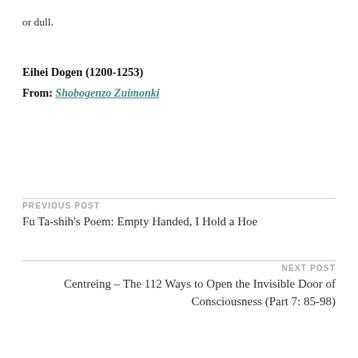or dull.
Eihei Dogen (1200-1253)
From: Shobogenzo Zuimonki
PREVIOUS POST
Fu Ta-shih’s Poem: Empty Handed, I Hold a Hoe
NEXT POST
Centreing – The 112 Ways to Open the Invisible Door of Consciousness (Part 7: 85-98)